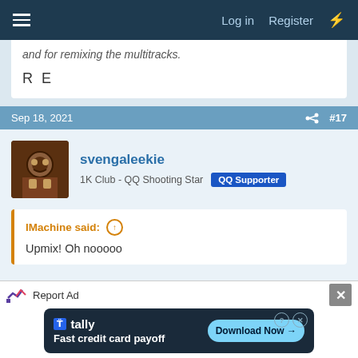Log in  Register
and for remixing the multitracks.
R E
Sep 18, 2021  #17
svengaleekie
1K Club - QQ Shooting Star  QQ Supporter
IMachine said:
Upmix! Oh nooooo
Don't worry, it's described as "stunning". Haha, but yea, we'll be the judge of that!
[Figure (other): Advertisement banner: Tally - Fast credit card payoff with Download Now button]